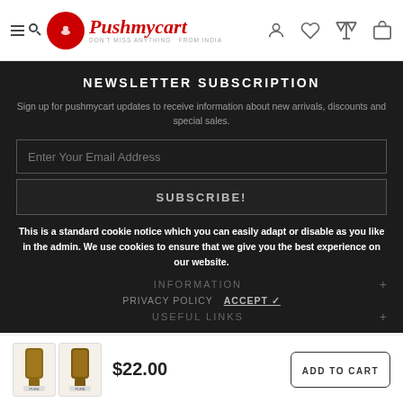Pushmycart - Don't miss anything from India
NEWSLETTER SUBSCRIPTION
Sign up for pushmycart updates to receive information about new arrivals, discounts and special sales.
Enter Your Email Address
SUBSCRIBE!
This is a standard cookie notice which you can easily adapt or disable as you like in the admin. We use cookies to ensure that we give you the best experience on our website.
INFORMATION +
PRIVACY POLICY   ACCEPT ✓
USEFUL LINKS +
$22.00
ADD TO CART